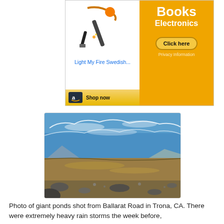[Figure (other): Amazon advertisement showing a fire starter product, with 'Books Electronics' text on orange background, 'Click here' button, and 'Shop now' bar with Amazon logo]
[Figure (photo): Photo of giant ponds shot from Ballarat Road in Trona, CA. Wide desert landscape with flooded dry lake bed (muddy brown water), rocky foreground, mountains in background, blue sky with wispy clouds.]
Photo of giant ponds shot from Ballarat Road in Trona, CA. There were extremely heavy rain storms the week before,